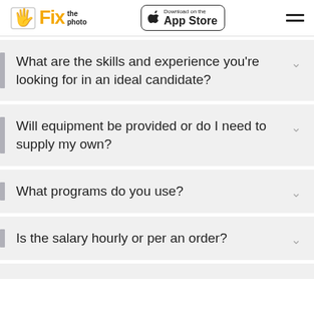Fix the photo — Download on the App Store
What are the skills and experience you're looking for in an ideal candidate?
Will equipment be provided or do I need to supply my own?
What programs do you use?
Is the salary hourly or per an order?